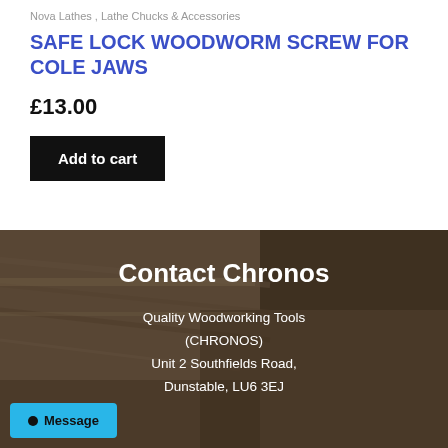Nova Lathes , Lathe Chucks & Accessories
SAFE LOCK WOODWORM SCREW FOR COLE JAWS
£13.00
Add to cart
[Figure (photo): Dark brown wood plank background image used as footer section backdrop]
Contact Chronos
Quality Woodworking Tools
(CHRONOS)
Unit 2 Southfields Road,
Dunstable, LU6 3EJ
Message